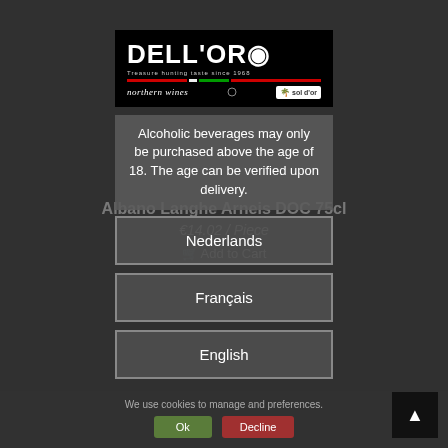[Figure (logo): Dell'Oro logo — black background, white stylized brand name 'DELL'ORO', tagline 'Treasure hunting taste since 1968', Italian flag bar, 'northern wines' italic text, and 'sol d'or' badge]
Alcoholic beverages may only be purchased above the age of 18. The age can be verified upon delivery.
Nederlands
Français
English
We use cookies to manage and preferences.
Ok
Decline